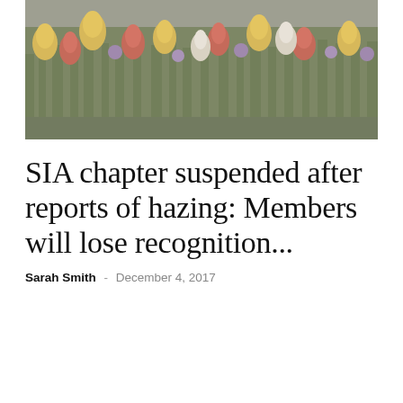[Figure (photo): A banner photo of colorful tulips — yellow, red, white and purple flowers — in a garden bed, rendered with a slightly faded/muted tone.]
SIA chapter suspended after reports of hazing: Members will lose recognition...
Sarah Smith  -  December 4, 2017